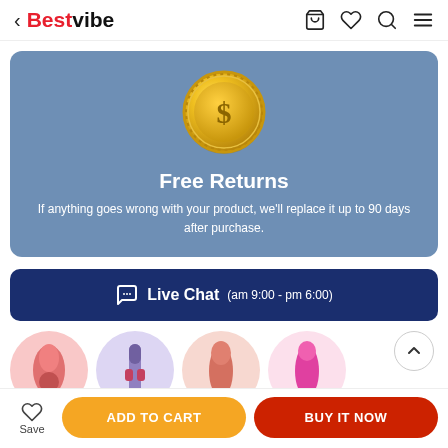< Bestvibe
[Figure (infographic): Blue card with gold dollar coin icon, title 'Free Returns', and description text about 90-day replacement policy.]
Free Returns
If anything goes wrong with your product, we'll replace it up to 90 days after purchase.
Live Chat (am 9:00 - pm 6:00)
[Figure (photo): Row of circular product thumbnail images at the bottom of the page.]
ADD TO CART
BUY IT NOW